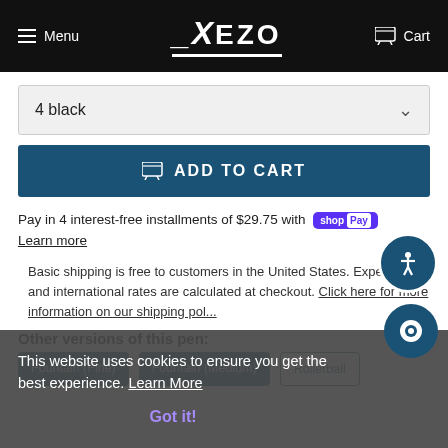Menu  XEZO  Cart
4 black
ADD TO CART
Pay in 4 interest-free installments of $29.75 with shop Pay
Learn more
Basic shipping is free to customers in the United States. Expedited and international rates are calculated at checkout. Click here for more information on our shipping policy.
This website uses cookies to ensure you get the best experience. Learn More
Got it!
Other versions of this pen:
Fountain (Fine)
Fountain (Medium)
Rollerball